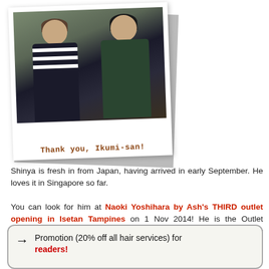[Figure (photo): Polaroid-style photo of two people making peace signs, with handwritten caption 'Thank you, Ikumi-san!']
Shinya is fresh in from Japan, having arrived in early September. He loves it in Singapore so far.
You can look for him at Naoki Yoshihara by Ash's THIRD outlet opening in Isetan Tampines on 1 Nov 2014! He is the Outlet Manager there. The salon has also kindly extended a promo for readers:
→   Promotion (20% off all hair services) for readers!